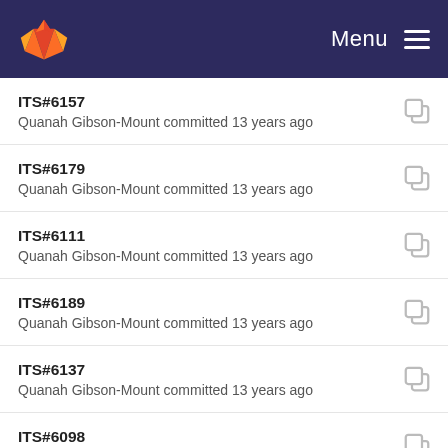Menu
ITS#6157
Quanah Gibson-Mount committed 13 years ago
ITS#6179
Quanah Gibson-Mount committed 13 years ago
ITS#6111
Quanah Gibson-Mount committed 13 years ago
ITS#6189
Quanah Gibson-Mount committed 13 years ago
ITS#6137
Quanah Gibson-Mount committed 13 years ago
ITS#6098
Quanah Gibson-Mount committed 13 years ago
ITS#5836,ITS#6089
Quanah Gibson-Mount committed 13 years ago
ITS#6195
Quanah Gibson-Mount committed 13 years ago